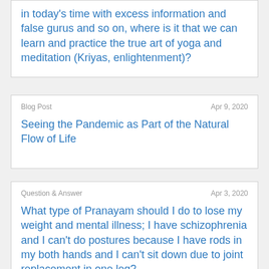in today's time with excess information and false gurus and so on, where is it that we can learn and practice the true art of yoga and meditation (Kriyas, enlightenment)?
Blog Post
Apr 9, 2020
Seeing the Pandemic as Part of the Natural Flow of Life
Question & Answer
Apr 3, 2020
What type of Pranayam should I do to lose my weight and mental illness; I have schizophrenia and I can't do postures because I have rods in my both hands and I can't sit down due to joint replacement in one leg?